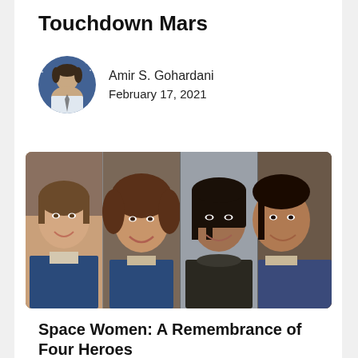Touchdown Mars
Amir S. Gohardani
February 17, 2021
[Figure (photo): Collage of four female astronaut portraits side by side]
Space Women: A Remembrance of Four Heroes